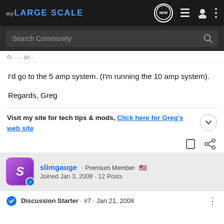MY LARGE SCALE
I'd go to the 5 amp system. (I'm running the 10 amp system).
Regards, Greg
Visit my site for tech tips & mods, Click here for Greg's web site
slimgauge · Premium Member · Joined Jan 3, 2008 · 12 Posts
Discussion Starter · #7 · Jan 21, 2008